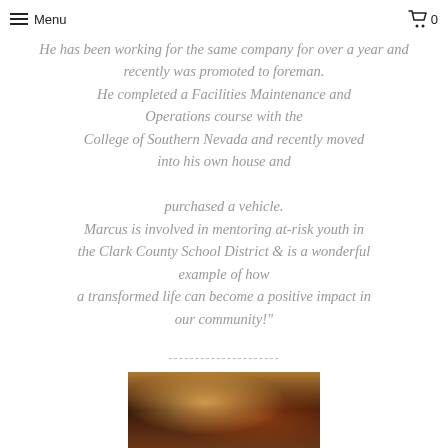Menu | 0
He has been working for the same company for over a year and recently was promoted to foreman. He completed a Facilities Maintenance and Operations course with the College of Southern Nevada and recently moved into his own house and purchased a vehicle. Marcus is involved in mentoring at-risk youth in the Clark County School District & is a wonderful example of how a transformed life can become a positive impact in our community!"
---------------------
[Figure (photo): A dark indoor photograph showing objects on a table, partially lit with warm tones.]